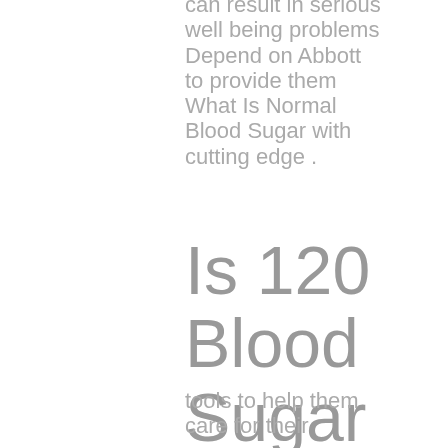can result in serious well being problems Depend on Abbott to provide them What Is Normal Blood Sugar with cutting edge .
Is 120 Blood Sugar Normal
tools to help them care for their